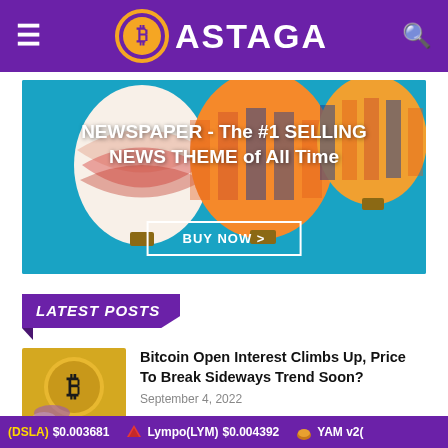BASTAGA
[Figure (photo): Advertisement banner with hot air balloons on blue background. Text: NEWSPAPER - The #1 SELLING NEWS THEME of All Time. Button: BUY NOW >]
LATEST POSTS
[Figure (photo): Gold Bitcoin coin thumbnail]
Bitcoin Open Interest Climbs Up, Price To Break Sideways Trend Soon?
September 4, 2022
(DSLA) $0.003681   Lympo(LYM) $0.004392   YAM v2(